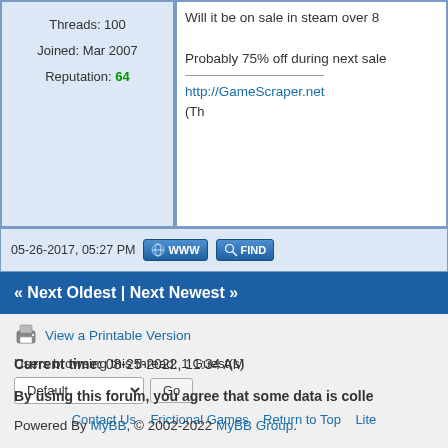Threads: 100
Joined: Mar 2007
Reputation: 64
Will it be on sale in steam over 8
Probably 75% off during next sale
http://GameScraper.net
(Th
05-26-2017, 05:27 PM
« Next Oldest | Next Newest »
View a Printable Version
Users browsing this thread: 1 Guest(s)
Contact Us   Frictional Games   Return to Top   Lite
Current time: 08-25-2022, 11:34 AM
By using this forum, you agree that some data is colle
Powered By MyBB, © 2002-2022 MyBB Group.